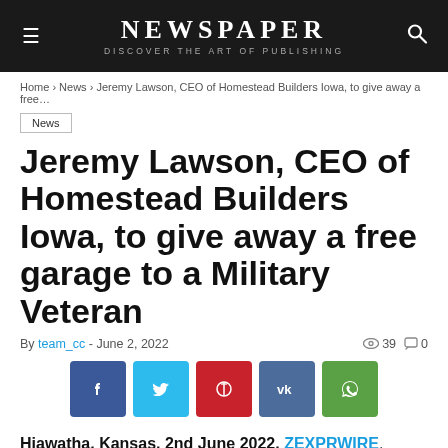NEWSPAPER · DISCOVER THE ART OF PUBLISHING
Home › News › Jeremy Lawson, CEO of Homestead Builders Iowa, to give away a free…
News
Jeremy Lawson, CEO of Homestead Builders Iowa, to give away a free garage to a Military Veteran
By team_cc - June 2, 2022   39  0
[Figure (other): Social share buttons: Facebook, Twitter, Pinterest, VK, WhatsApp]
Hiawatha, Kansas, 2nd June 2022, ZEXPRWIRE, Jeremey Lawson, CEO of Homestead Builders Iowa, has announced